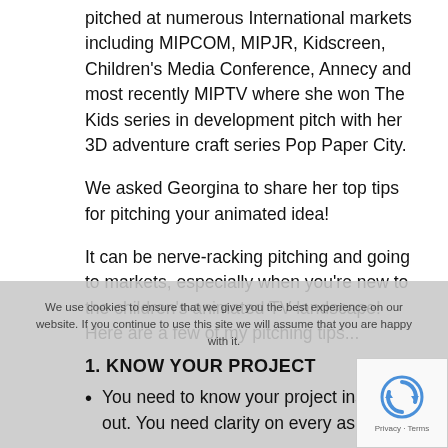pitched at numerous International markets including MIPCOM, MIPJR, Kidscreen, Children's Media Conference, Annecy and most recently MIPTV where she won The Kids series in development pitch with her 3D adventure craft series Pop Paper City.
We asked Georgina to share her top tips for pitching your animated idea!
It can be nerve-racking pitching and going to markets, especially when you're new to the children's animated TV landscape! Here are a few of my pitching tips...
1. KNOW YOUR PROJECT
You need to know your project inside out. You need clarity on every aspect of